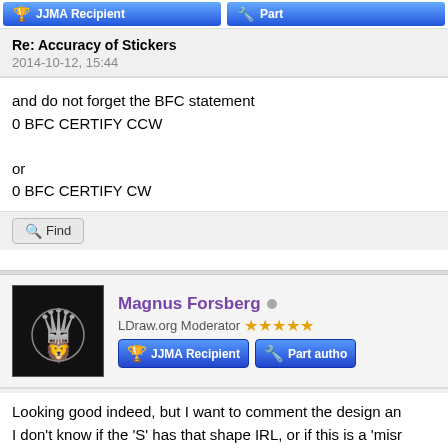[Figure (other): Top partial post badge bar showing JJMA Recipient and Part author badges in blue gradient]
Re: Accuracy of Stickers
2014-10-12, 15:44
and do not forget the BFC statement
0 BFC CERTIFY CCW

or
0 BFC CERTIFY CW
[Figure (other): Find button with magnifying glass icon]
[Figure (photo): Magnus Forsberg avatar - black background with silver lion wearing crown logo]
Magnus Forsberg
LDraw.org Moderator ★★★★★
[Figure (other): JJMA Recipient and Part author badges in blue gradient]
Re: Accuracy of Stickers
2014-10-11, 14:26
Looking good indeed, but I want to comment the design an
I don't know if the 'S' has that shape IRL, or if this is a 'misr